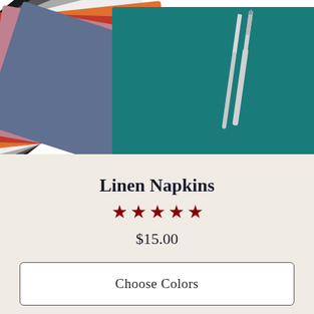[Figure (photo): Product photo showing a fan of colorful linen napkins in various colors (black, gray, white, orange, red, pink, blue, teal) with a fork and knife resting on the teal napkin in front.]
Linen Napkins
★★★★★
$15.00
Choose Colors